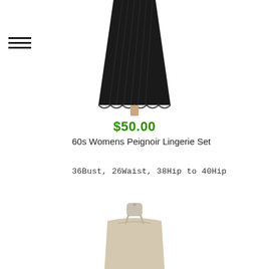[Figure (photo): Black pleated chiffon peignoir lingerie set on a dress form mannequin, shown from waist down]
$50.00
60s Womens Peignoir Lingerie Set
36Bust, 26Waist, 38Hip to 40Hip
[Figure (photo): Beige/nude spaghetti strap slip dress on a dress form mannequin, upper portion visible]